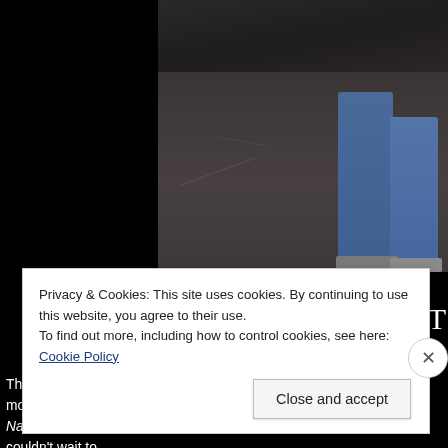[Figure (photo): Partial view of a person's legs in blue jeans standing on a dark stone/asphalt floor, photo cropped at left showing black area on left portion]
T
Then, I set about getting my gear ready for the next day. Finally, I felt motivated e Nahargarh Fort were all on my list. There was a lot to cover and I couldn't wait to
Hawa Mah
[Figure (photo): Partial bottom photo strip showing teal/green and brick-red tones, partially visible]
Privacy & Cookies: This site uses cookies. By continuing to use this website, you agree to their use.
To find out more, including how to control cookies, see here: Cookie Policy
Close and accept